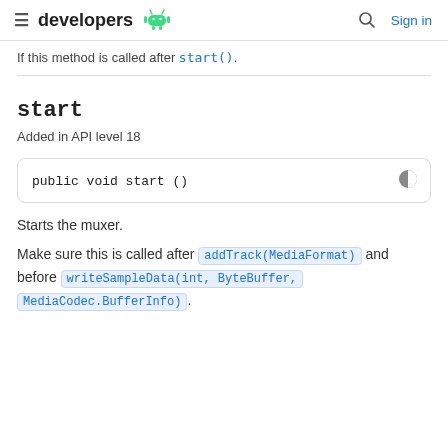developers  Sign in
If this method is called after start().
start
Added in API level 18
public void start ()
Starts the muxer.
Make sure this is called after addTrack(MediaFormat) and before writeSampleData(int, ByteBuffer, MediaCodec.BufferInfo).